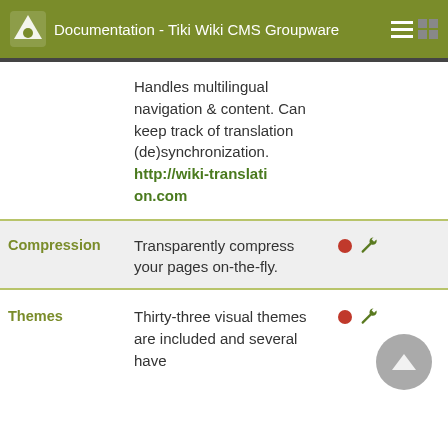Documentation - Tiki Wiki CMS Groupware
| Name | Description | Icons | A |
| --- | --- | --- | --- |
|  | Handles multilingual navigation & content. Can keep track of translation (de)synchronization. http://wiki-translation.com |  |  |
| Compression | Transparently compress your pages on-the-fly. | ● 🔧 | A |
| Themes | Thirty-three visual themes are included and several have | ● 🔧 | A |